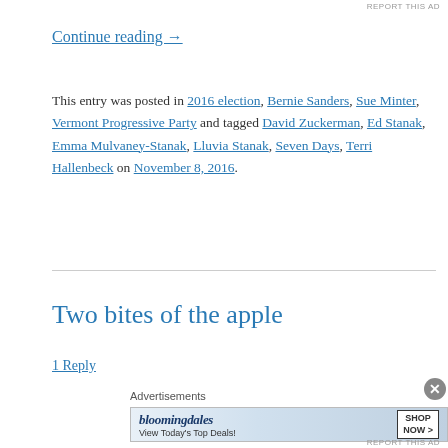REPORT THIS AD
Continue reading →
This entry was posted in 2016 election, Bernie Sanders, Sue Minter, Vermont Progressive Party and tagged David Zuckerman, Ed Stanak, Emma Mulvaney-Stanak, Lluvia Stanak, Seven Days, Terri Hallenbeck on November 8, 2016.
Two bites of the apple
1 Reply
Advertisements
[Figure (photo): Bloomingdale's advertisement: 'View Today's Top Deals!' with SHOP NOW > button and image of woman in hat]
REPORT THIS AD